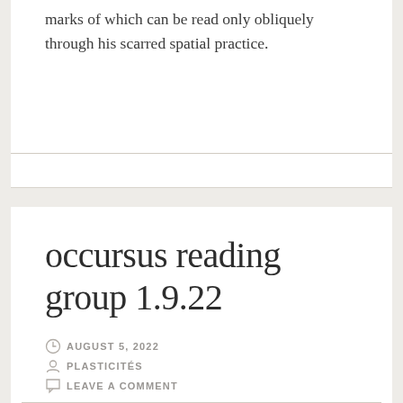marks of which can be read only obliquely through his scarred spatial practice.
occursus reading group 1.9.22
AUGUST 5, 2022
PLASTICITÉS
LEAVE A COMMENT